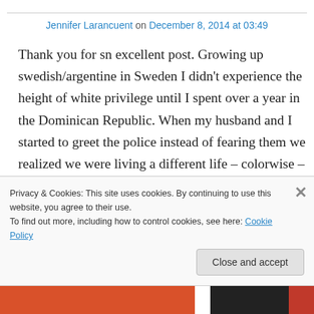Jennifer Larancuent on December 8, 2014 at 03:49
Thank you for sn excellent post. Growing up swedish/argentine in Sweden I didn't experience the height of white privilege until I spent over a year in the Dominican Republic. When my husband and I started to greet the police instead of fearing them we realized we were living a different life – colorwise – than we did in Sweden. To the ignorant comment above, you
Privacy & Cookies: This site uses cookies. By continuing to use this website, you agree to their use.
To find out more, including how to control cookies, see here: Cookie Policy
Close and accept